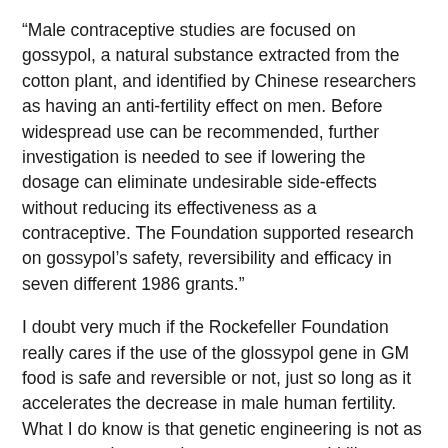“Male contraceptive studies are focused on gossypol, a natural substance extracted from the cotton plant, and identified by Chinese researchers as having an anti-fertility effect on men. Before widespread use can be recommended, further investigation is needed to see if lowering the dosage can eliminate undesirable side-effects without reducing its effectiveness as a contraceptive. The Foundation supported research on gossypol’s safety, reversibility and efficacy in seven different 1986 grants.”
I doubt very much if the Rockefeller Foundation really cares if the use of the glossypol gene in GM food is safe and reversible or not, just so long as it accelerates the decrease in male human fertility. What I do know is that genetic engineering is not as an exact science as its proponents would like to make out, and one is never sure exactly how inserted genes will express themselves, or how they will affect the expressions of other genes. As Jeffery M. Smith writes in his seminal work, Seeds of Deception (pages 57-58), the method of inserting new genes into an organism is far from precise: